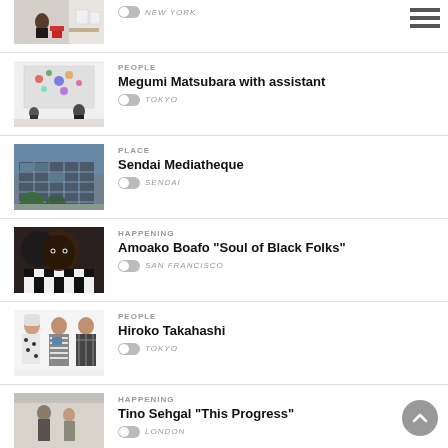NEW YORK (partial, top entry)
PEOPLE – Megumi Matsubara with assistant – TOKYO
PLACE – Sendai Mediatheque – SENDAI
HAPPENING – Amoako Boafo "Soul of Black Folks" – SAN FRANCISCO
PEOPLE – Hiroko Takahashi – TOKYO
HAPPENING – Tino Sehgal "This Progress" – LONDON (partial)